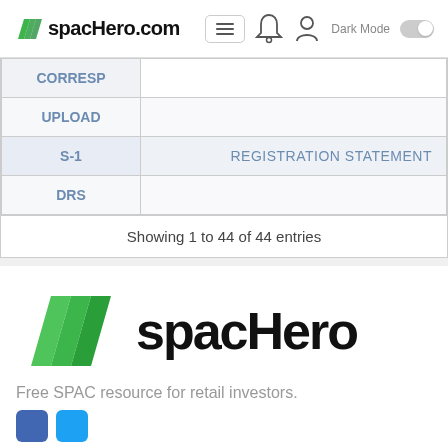spacHero.com
| Type | Description |
| --- | --- |
| CORRESP |  |
| UPLOAD |  |
| S-1 | REGISTRATION STATEMENT |
| DRS |  |
Showing 1 to 44 of 44 entries
[Figure (logo): spacHero logo with green parallelogram mark and bold spacHero text]
Free SPAC resource for retail investors.